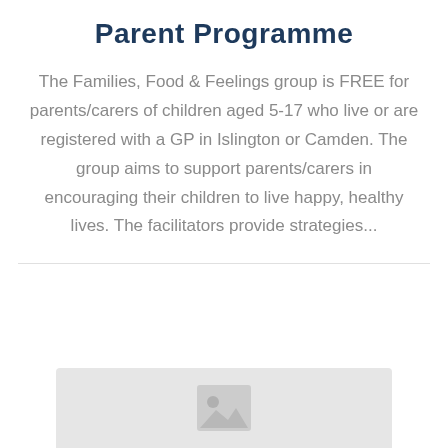Parent Programme
The Families, Food & Feelings group is FREE for parents/carers of children aged 5-17 who live or are registered with a GP in Islington or Camden. The group aims to support parents/carers in encouraging their children to live happy, healthy lives. The facilitators provide strategies...
[Figure (photo): Placeholder image area with grey background and image icon at bottom of page]